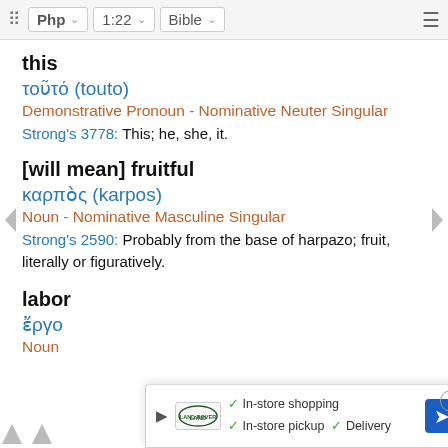Php  1:22  Bible
this
τοῦτό (touto)
Demonstrative Pronoun - Nominative Neuter Singular
Strong's 3778: This; he, she, it.
[will mean] fruitful
καρπὸς (karpos)
Noun - Nominative Masculine Singular
Strong's 2590: Probably from the base of harpazo; fruit, literally or figuratively.
labor
ἔργο
Noun